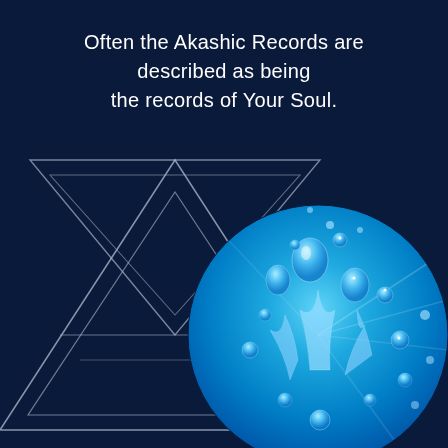Often the Akashic Records are described as being the records of Your Soul.
[Figure (illustration): Geometric star-of-David-like triangles (sacred geometry) in silver/white outline on dark navy background, overlapping with a circular photo of blue water droplets/splashes on bright blue background]